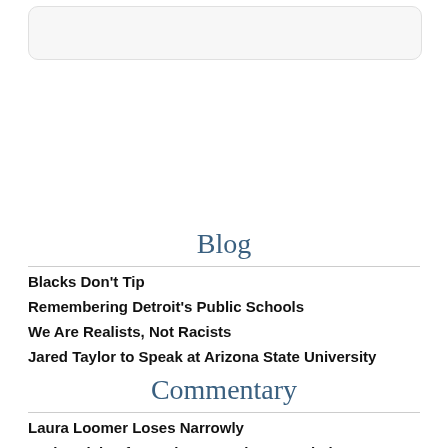[Figure (other): Search box / input field UI element with rounded corners]
Blog
Blacks Don't Tip
Remembering Detroit's Public Schools
We Are Realists, Not Racists
Jared Taylor to Speak at Arizona State University
Commentary
Laura Loomer Loses Narrowly
A Chronicle of Race in our Nation's Capital